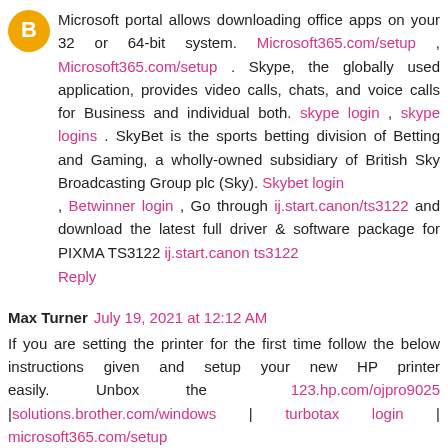Microsoft portal allows downloading office apps on your 32 or 64-bit system. Microsoft365.com/setup , Microsoft365.com/setup . Skype, the globally used application, provides video calls, chats, and voice calls for Business and individual both. skype login , skype logins . SkyBet is the sports betting division of Betting and Gaming, a wholly-owned subsidiary of British Sky Broadcasting Group plc (Sky). Skybet login , Betwinner login , Go through ij.start.canon/ts3122 and download the latest full driver & software package for PIXMA TS3122 ij.start.canon ts3122
Reply
Max Turner  July 19, 2021 at 12:12 AM
If you are setting the printer for the first time follow the below instructions given and setup your new HP printer easily. Unbox the 123.hp.com/ojpro9025 |solutions.brother.com/windows | turbotax login | microsoft365.com/setup
Reply